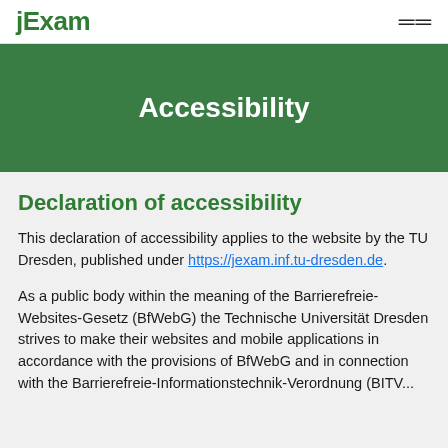jExam
Accessibility
Declaration of accessibility
This declaration of accessibility applies to the website by the TU Dresden, published under https://jexam.inf.tu-dresden.de.
As a public body within the meaning of the Barrierefreie-Websites-Gesetz (BfWebG) the Technische Universität Dresden strives to make their websites and mobile applications in accordance with the provisions of BfWebG and in connection with the Barrierefreie-Informationstechnik-Verordnung (BITV...